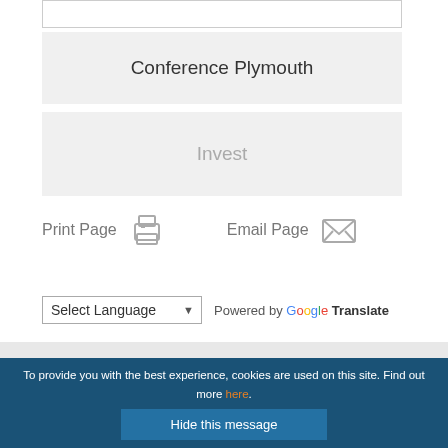Conference Plymouth
Invest
Print Page
Email Page
Select Language — Powered by Google Translate
To provide you with the best experience, cookies are used on this site. Find out more here.
Hide this message